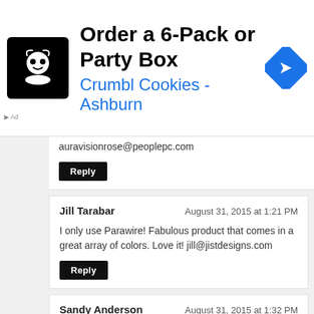[Figure (infographic): Advertisement banner for Crumbl Cookies - Ashburn showing logo, title 'Order a 6-Pack or Party Box', subtitle 'Crumbl Cookies - Ashburn', and a blue navigation arrow icon]
auravisionrose@peoplepc.com
Reply
Jill Tarabar
August 31, 2015 at 1:21 PM
I only use Parawire! Fabulous product that comes in a great array of colors. Love it! jill@jistdesigns.com
Reply
Sandy Anderson
August 31, 2015 at 1:32 PM
I enjoy working with Parawire very much. I would love to win a $50 gift certificate!
slbrengman@msn.com
Reply